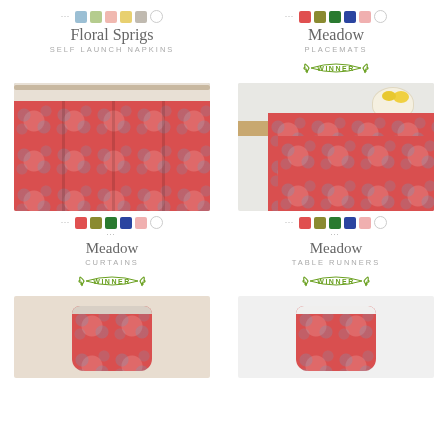Floral Sprigs
SELF LAUNCH NAPKINS
Meadow
PLACEMATS
WINNER
[Figure (photo): Meadow curtains product photo - red/coral floral fabric curtains hanging on a rod]
[Figure (photo): Meadow table runners product photo - red/coral floral fabric table runner on a wooden table with a bowl of lemons]
Meadow
CURTAINS
WINNER
Meadow
TABLE RUNNERS
WINNER
[Figure (photo): Lamp shade with red/coral floral Meadow fabric - left variant]
[Figure (photo): Lamp shade with red/coral floral Meadow fabric - right variant]